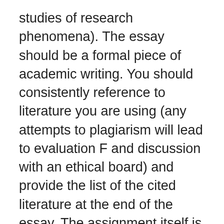studies of research phenomena). The essay should be a formal piece of academic writing. You should consistently reference to literature you are using (any attempts to plagiarism will lead to evaluation F and discussion with an ethical board) and provide the list of the cited literature at the end of the essay. The assignment itself is very broad – you may choose any topic related to consumption. I would like to approve the topic during consultations to make sure that